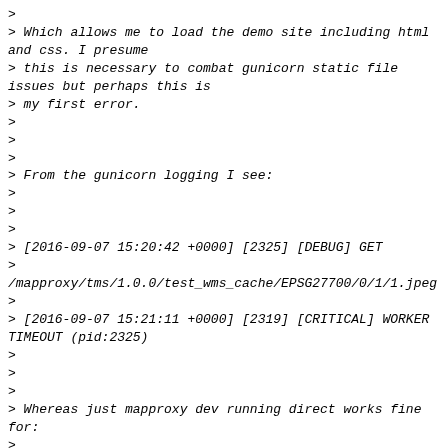>
> Which allows me to load the demo site including html and css. I presume
> this is necessary to combat gunicorn static file issues but perhaps this is
> my first error.
>
>
>
> From the gunicorn logging I see:
>
>
>
> [2016-09-07 15:20:42 +0000] [2325] [DEBUG] GET
>
/mapproxy/tms/1.0.0/test_wms_cache/EPSG27700/0/1/1.jpeg
>
> [2016-09-07 15:21:11 +0000] [2319] [CRITICAL] WORKER TIMEOUT (pid:2325)
>
>
>
> Whereas just mapproxy dev running direct works fine for:
>
>
>
> [info] XXX.XXX.XXX.XXX - - [07/Sep/2016 14:52:19] "GET
> /tms/1.0.0/test_wms_cache/EPSG27700/0/1/1.jpeg
HTTP/1.1" 20...